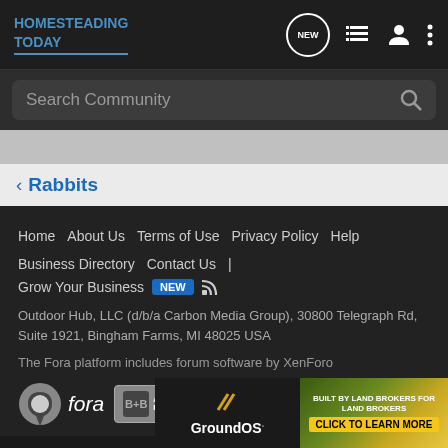HOMESTEADING TODAY
Search Community
< Rabbits
Home   About Us   Terms of Use   Privacy Policy   Help   Business Directory   Contact Us   |   Grow Your Business   NEW
Outdoor Hub, LLC (d/b/a Carbon Media Group), 30800 Telegraph Rd, Suite 1921, Bingham Farms, MI 48025 USA
The Fora platform includes forum software by XenForo
[Figure (logo): Fora platform logo with circular icon and italic fora text]
[Figure (other): BBB Accredited Business badge]
[Figure (other): GroundOS advertisement banner - Built by Land Brokers for Land Brokers, Click to Learn More]